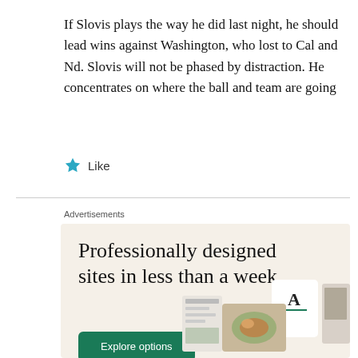If Slovis plays the way he did last night, he should lead wins against Washington, who lost to Cal and Nd. Slovis will not be phased by distraction. He concentrates on where the ball and team are going
★ Like
Advertisements
[Figure (illustration): Advertisement banner with beige background. Large text reads 'Professionally designed sites in less than a week' with a green 'Explore options' button and screenshot images of website designs on the right side.]